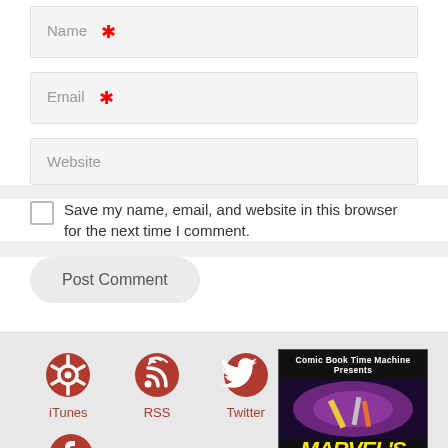Name *
Email *
Website
Save my name, email, and website in this browser for the next time I comment.
Post Comment
iTunes
RSS
Twitter
Facebook
[Figure (screenshot): Comic Book Time Machine Presents Marvel's Cosmic Comics book cover with yellow text on black background]